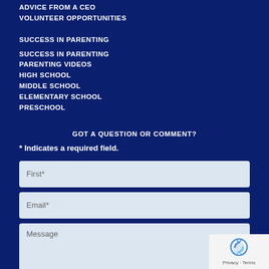ADVICE FROM A CEO
VOLUNTEER OPPORTUNITIES
SUCCESS IN PARENTING
SUCCESS IN PARENTING
PARENTING VIDEOS
HIGH SCHOOL
MIDDLE SCHOOL
ELEMENTARY SCHOOL
PRESCHOOL
GOT A QUESTION OR COMMENT?
* Indicates a required field.
First*
Email*
Message